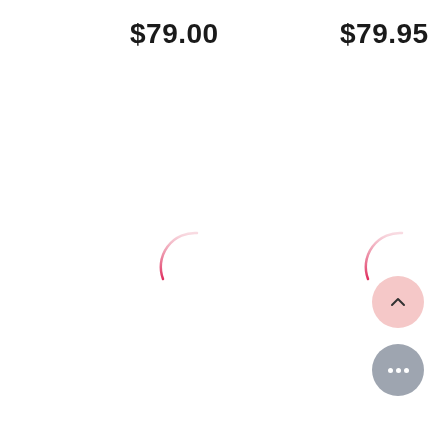$79.00
$79.95
[Figure (other): Loading spinner arc, pink/red gradient, left side]
[Figure (other): Loading spinner arc, pink/red gradient, right side]
[Figure (other): Scroll-to-top button: pink circle with upward chevron]
[Figure (other): Chat/more button: gray circle with three dots]